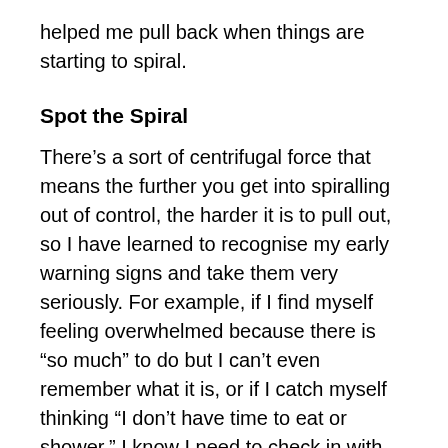helped me pull back when things are starting to spiral.
Spot the Spiral
There’s a sort of centrifugal force that means the further you get into spiralling out of control, the harder it is to pull out, so I have learned to recognise my early warning signs and take them very seriously. For example, if I find myself feeling overwhelmed because there is “so much” to do but I can’t even remember what it is, or if I catch myself thinking “I don’t have time to eat or shower,” I know I need to check in with myself. Other signs for me are things like being messy at